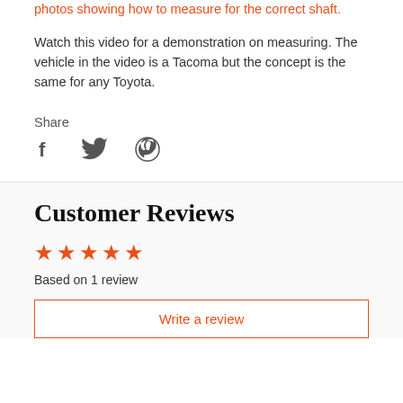photos showing how to measure for the correct shaft.
Watch this video for a demonstration on measuring. The vehicle in the video is a Tacoma but the concept is the same for any Toyota.
Share
[Figure (illustration): Social media share icons: Facebook (f), Twitter (bird), Pinterest (p)]
Customer Reviews
[Figure (infographic): 5 orange filled stars rating]
Based on 1 review
Write a review